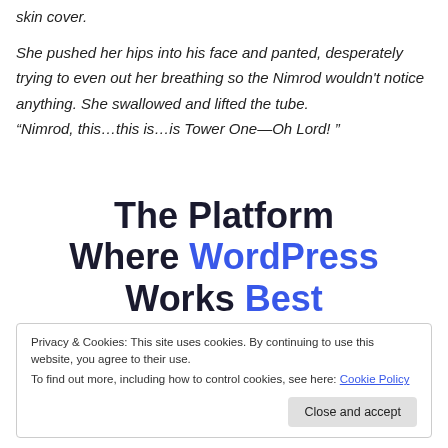skin cover.

She pushed her hips into his face and panted, desperately trying to even out her breathing so the Nimrod wouldn't notice anything. She swallowed and lifted the tube. “Nimrod, this…this is…is Tower One—Oh Lord! ”
The Platform Where WordPress Works Best
Privacy & Cookies: This site uses cookies. By continuing to use this website, you agree to their use.
To find out more, including how to control cookies, see here: Cookie Policy
Close and accept